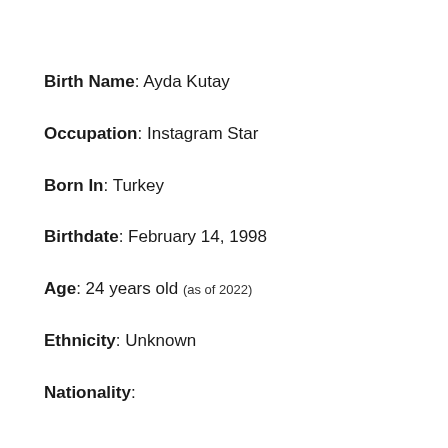Birth Name: Ayda Kutay
Occupation: Instagram Star
Born In: Turkey
Birthdate: February 14, 1998
Age: 24 years old (as of 2022)
Ethnicity: Unknown
Nationality: